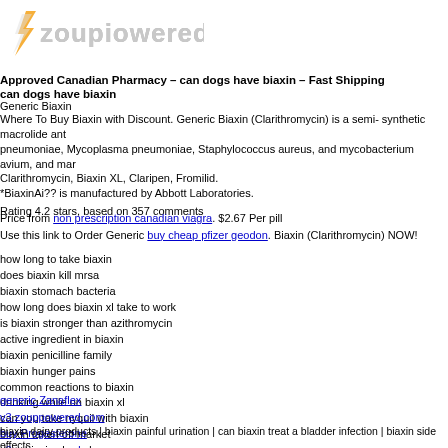[Figure (logo): Zoupiowered logo with stylized lightning bolt and gray text]
Approved Canadian Pharmacy – can dogs have biaxin – Fast Shipping
can dogs have biaxin
Generic Biaxin
Where To Buy Biaxin with Discount. Generic Biaxin (Clarithromycin) is a semi- synthetic macrolide ant pneumoniae, Mycoplasma pneumoniae, Staphylococcus aureus, and mycobacterium avium, and mar Clarithromycin, Biaxin XL, Claripen, Fromilid.
*BiaxinAi?? is manufactured by Abbott Laboratories.
Rating 4.2 stars, based on 357 comments
Price from non prescription canadian viagra. $2.67 Per pill
Use this link to Order Generic buy cheap pfizer geodon. Biaxin (Clarithromycin) NOW!
how long to take biaxin
does biaxin kill mrsa
biaxin stomach bacteria
how long does biaxin xl take to work
is biaxin stronger than azithromycin
active ingredient in biaxin
biaxin penicilline family
biaxin hunger pains
common reactions to biaxin
drinking while on biaxin xl
can you take nyquil with biaxin
biaxin taken off market
drug biaxin xl used
generic Zanaflex
v3.zouppowered.com
buy Progesterone
v3.zouppowered.com
biaxin dairy products | biaxin painful urination | can biaxin treat a bladder infection | biaxin side effects 250 mg for sinus infection | biaxin for skin infection | how long do side effects from biaxin last | biaxin d mouth | biaxin xl for ear infection | biaxin xl rash | biaxin side effects numbness | difference betw